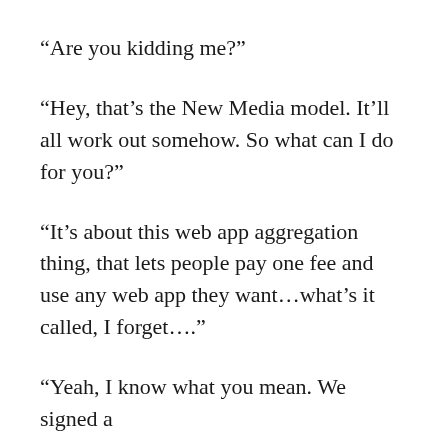“Are you kidding me?”
“Hey, that’s the New Media model. It’ll all work out somehow. So what can I do for you?”
“It’s about this web app aggregation thing, that lets people pay one fee and use any web app they want…what’s it called, I forget….”
“Yeah, I know what you mean. We signed a